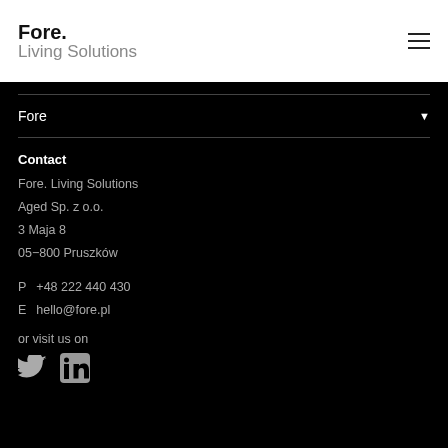Fore. Living Solutions
Fore ▼
Contact
Fore. Living Solutions
Aged Sp. z o.o.
3 Maja 8
05−800 Pruszków
P  +48 222 440 430
E  hello@fore.pl
or visit us on